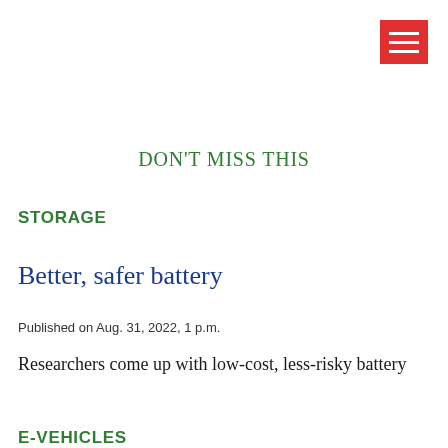[Figure (other): Red hamburger menu button with three white horizontal lines, positioned in top-right corner]
DON'T MISS THIS
STORAGE
Better, safer battery
Published on Aug. 31, 2022, 1 p.m.
Researchers come up with low-cost, less-risky battery
E-VEHICLES